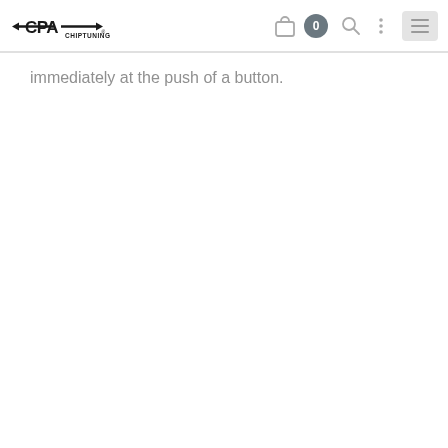CPA Chiptuning — navigation header with logo, cart (0), search, more options, and menu
immediately at the push of a button.